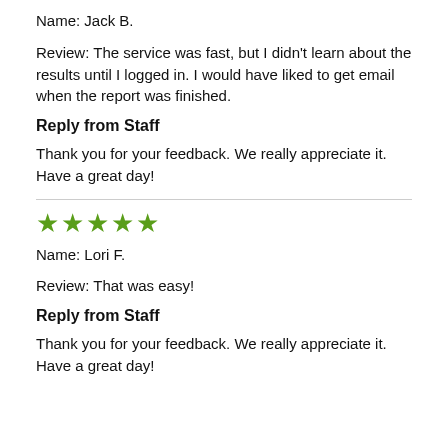Name: Jack B.
Review: The service was fast, but I didn't learn about the results until I logged in. I would have liked to get email when the report was finished.
Reply from Staff
Thank you for your feedback. We really appreciate it. Have a great day!
[Figure (other): Five green star rating icons]
Name: Lori F.
Review: That was easy!
Reply from Staff
Thank you for your feedback. We really appreciate it. Have a great day!